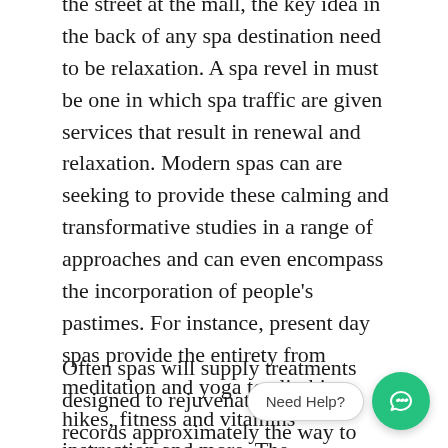the street at the mall, the key idea in the back of any spa destination need to be relaxation. A spa revel in must be one in which spa traffic are given services that result in renewal and relaxation. Modern spas can are seeking to provide these calming and transformative studies in a range of approaches and can even encompass the incorporation of people's pastimes. For instance, present day spas provide the entirety from meditation and yoga to climbing, hikes, fitness and vitamins instruction and more. The contemporary definition of the spa has evolved and grown to consist of non-public development and growth as well as rest and amusing.
Often spas will supply treatments designed to rejuvenate skin and records approximately the way to protect pores and skin. Since w… ar… first around the eye region, a good buy of interest i… often given by way of spas to helping revitalize and